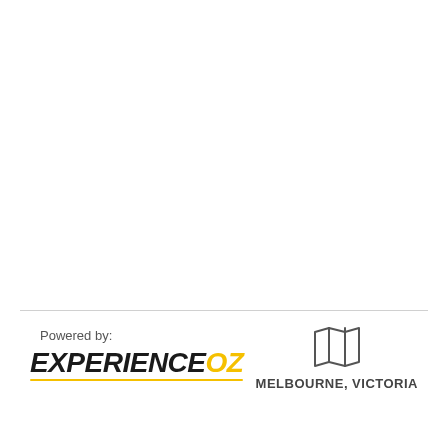[Figure (logo): ExperienceOz logo with 'Powered by:' text above]
[Figure (illustration): Map/location icon above 'MELBOURNE, VICTORIA' text]
MELBOURNE, VICTORIA